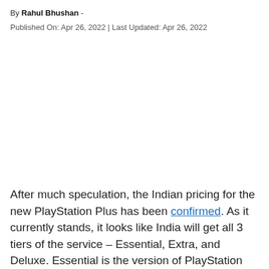By Rahul Bhushan -
Published On: Apr 26, 2022 | Last Updated: Apr 26, 2022
After much speculation, the Indian pricing for the new PlayStation Plus has been confirmed. As it currently stands, it looks like India will get all 3 tiers of the service – Essential, Extra, and Deluxe. Essential is the version of PlayStation Plus that currently exists –